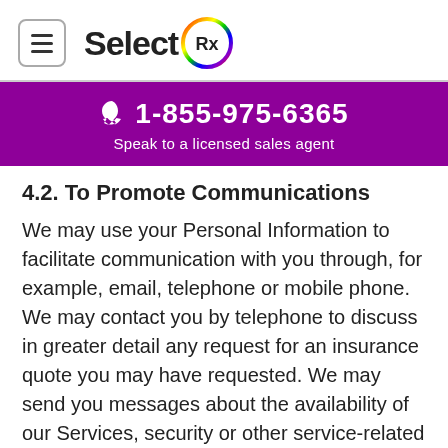SelectRx
☎ 1-855-975-6365
Speak to a licensed sales agent
4.2. To Promote Communications
We may use your Personal Information to facilitate communication with you through, for example, email, telephone or mobile phone. We may contact you by telephone to discuss in greater detail any request for an insurance quote you may have requested. We may send you messages about the availability of our Services, security or other service-related issues. We may also send messages about